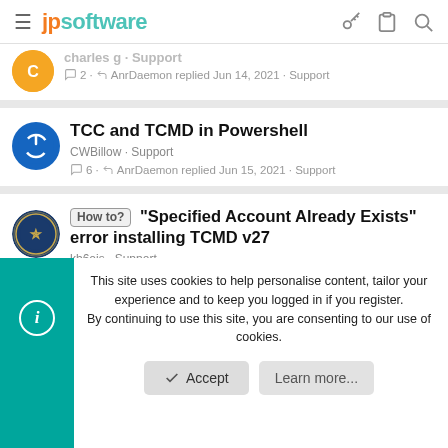jpsoftware
charles g · Support
💬 2 · ↩ AnrDaemon replied Jun 14, 2021 · Support
TCC and TCMD in Powershell
CWBillow · Support
💬 6 · ↩ AnrDaemon replied Jun 15, 2021 · Support
How to? "Specified Account Already Exists" error installing TCMD v27
kb6ojs · Support
💬 12 · ↩ kb6ojs replied Jun 5, 2021 · Support
This site uses cookies to help personalise content, tailor your experience and to keep you logged in if you register.
By continuing to use this site, you are consenting to our use of cookies.